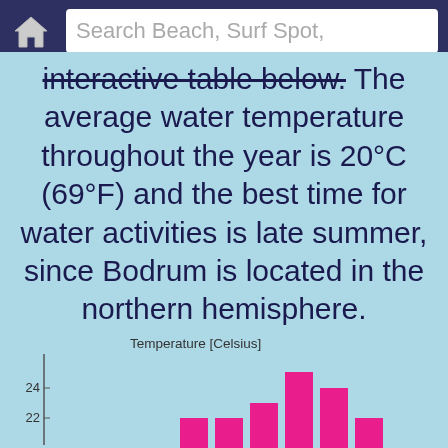Search Beach, Surf Spot,
interactive table below. The average water temperature throughout the year is 20°C (69°F) and the best time for water activities is late summer, since Bodrum is located in the northern hemisphere.
[Figure (bar-chart): Temperature [Celsius]]